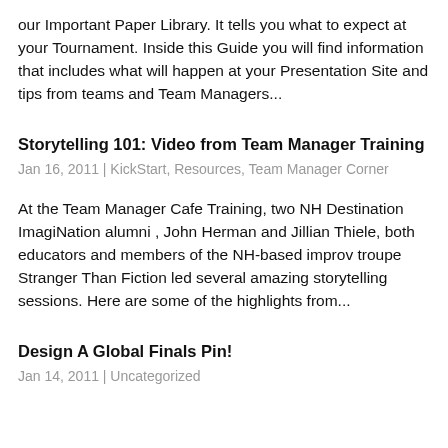our Important Paper Library. It tells you what to expect at your Tournament. Inside this Guide you will find information that includes what will happen at your Presentation Site and tips from teams and Team Managers...
Storytelling 101: Video from Team Manager Training
Jan 16, 2011 | KickStart, Resources, Team Manager Corner
At the Team Manager Cafe Training, two NH Destination ImagiNation alumni , John Herman and Jillian Thiele, both educators and members of the NH-based improv troupe Stranger Than Fiction led several amazing storytelling sessions. Here are some of the highlights from...
Design A Global Finals Pin!
Jan 14, 2011 | Uncategorized